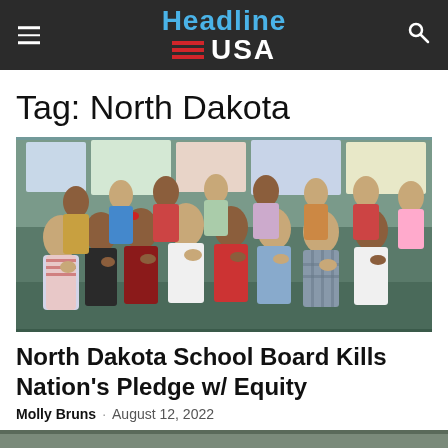Headline USA
Tag: North Dakota
[Figure (photo): Elementary school children standing in a classroom with their hands over their hearts reciting the Pledge of Allegiance. Diverse group of young students, colorful classroom background with educational posters.]
North Dakota School Board Kills Nation's Pledge w/ Equity
Molly Bruns · August 12, 2022
[Figure (photo): Partial view of another article image at the bottom of the page (cut off).]